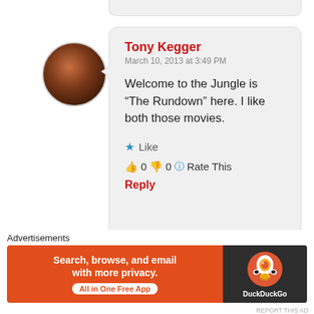[Figure (photo): User avatar photo of Tony Kegger, circular crop]
Tony Kegger
March 10, 2013 at 3:49 PM

Welcome to the Jungle is “The Rundown” here. I like both those movies.

★ Like
👍 0 👎 0 ℹ Rate This
Reply
[Figure (logo): Circular blue power button icon for KipSmithers user avatar]
KipSmithers
Advertisements
[Figure (infographic): DuckDuckGo advertisement banner: Search, browse, and email with more privacy. All in One Free App. DuckDuckGo logo.]